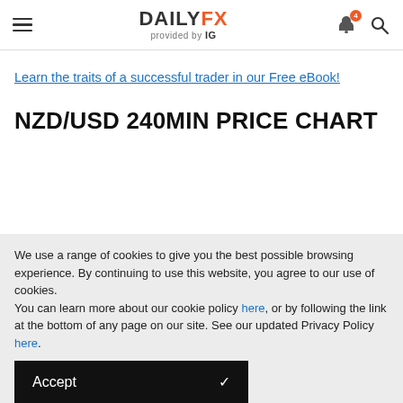DAILYFX provided by IG
Learn the traits of a successful trader in our Free eBook!
NZD/USD 240MIN PRICE CHART
We use a range of cookies to give you the best possible browsing experience. By continuing to use this website, you agree to our use of cookies.
You can learn more about our cookie policy here, or by following the link at the bottom of any page on our site. See our updated Privacy Policy here.